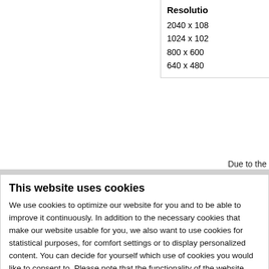| Resolution |
| --- |
| 2040 x 108… |
| 1024 x 102… |
| 800 x 600 |
| 640 x 480 |
Due to the…
This website uses cookies
We use cookies to optimize our website for you and to be able to improve it continuously. In addition to the necessary cookies that make our website usable for you, we also want to use cookies for statistical purposes, for comfort settings or to display personalized content. You can decide for yourself which use of cookies you would like to consent to. Please note that the functionality of the website may be limited based on your settings. Your consent is voluntary. You can withdraw your consent at any time with effect for the future and change the cookie settings. For more information on the individual cookies, please refer to our data protection information.
Allow all cookies
Allow selection
Use necessary cookies only
Necessary   Preferences   Statistics   Marketing   Show details